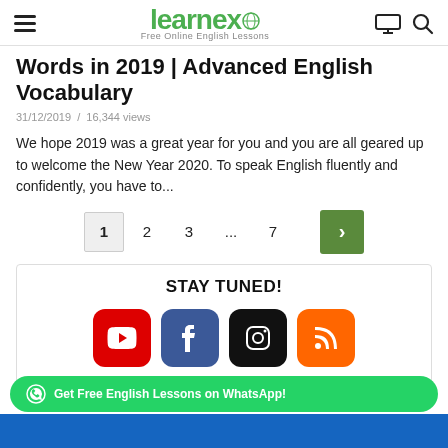learnex — Free Online English Lessons
Words in 2019 | Advanced English Vocabulary
31/12/2019  /  16,344 views
We hope 2019 was a great year for you and you are all geared up to welcome the New Year 2020. To speak English fluently and confidently, you have to...
[Figure (other): Pagination navigation: page 1 (active), 2, 3, ..., 7, and next (>) button]
[Figure (infographic): STAY TUNED! box with social media icons: YouTube (red), Facebook (blue), Instagram (black), RSS (orange)]
Get Free English Lessons on WhatsApp!